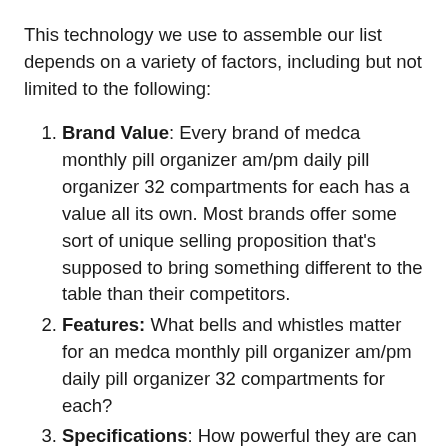This technology we use to assemble our list depends on a variety of factors, including but not limited to the following:
Brand Value: Every brand of medca monthly pill organizer am/pm daily pill organizer 32 compartments for each has a value all its own. Most brands offer some sort of unique selling proposition that's supposed to bring something different to the table than their competitors.
Features: What bells and whistles matter for an medca monthly pill organizer am/pm daily pill organizer 32 compartments for each?
Specifications: How powerful they are can be measured.